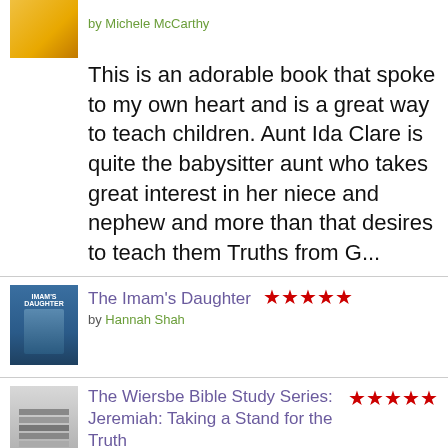by Michele McCarthy
This is an adorable book that spoke to my own heart and is a great way to teach children. Aunt Ida Clare is quite the babysitter aunt who takes great interest in her niece and nephew and more than that desires to teach them Truths from G...
The Imam's Daughter ★★★★★ by Hannah Shah
The Wiersbe Bible Study Series: Jeremiah: Taking a Stand for the Truth ★★★★★ by Warren W. Wiersbe
Great Bible Study Studying Jeremiah? This is a great supplement to use along with your study. Use it alone or in a group study.